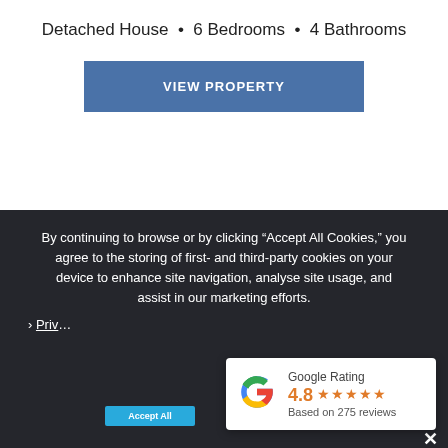Detached House • 6 Bedrooms • 4 Bathrooms
VIEW PROPERTY
By continuing to browse or by clicking “Accept All Cookies,” you agree to the storing of first- and third-party cookies on your device to enhance site navigation, analyse site usage, and assist in our marketing efforts.
› Priv…
[Figure (other): Google Rating widget showing 4.8 stars based on 275 reviews with Google G logo]
Google Rating 4.8 ★★★★★ Based on 275 reviews